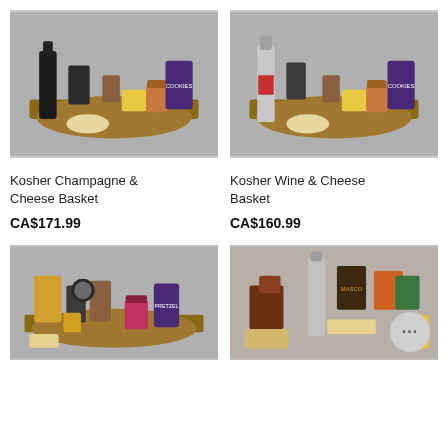[Figure (photo): Gift basket with champagne, cheese, crackers, and various snacks on a wooden board against a grey background]
[Figure (photo): Gift basket with red wine bottle, cheese, crackers, and various snacks on a wooden board against a grey background]
Kosher Champagne & Cheese Basket
CA$171.99
Kosher Wine & Cheese Basket
CA$160.99
[Figure (photo): Gift basket with various food items, cookies, jams, and snacks on a wooden board against a grey background]
[Figure (photo): Gift basket with champagne bottle, chocolates, crackers, and various gourmet snacks against a grey background, with a chat bubble icon overlay]